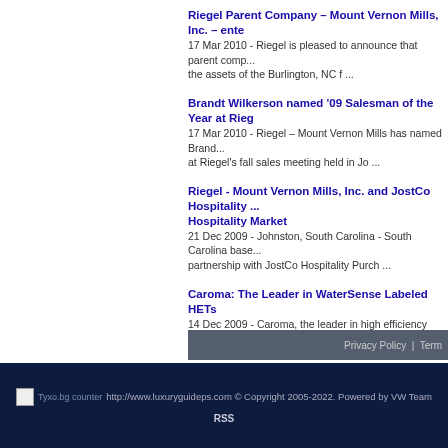Riegel Parent Company – Mount Vernon Mills, Inc. – ente...
17 Mar 2010 - Riegel is pleased to announce that parent comp... the assets of the Burlington, NC f ...
Brandt Wilkerson named '09 Salesman of the Year at Rieg...
17 Mar 2010 - Riegel – Mount Vernon Mills has named Brand... at Riegel's fall sales meeting held in Jo ...
Riegel - Mount Vernon Mills, Inc. and JostCo Hospitality ... Hospitality Market
21 Dec 2009 - Johnston, South Carolina - South Carolina base... partnership with JostCo Hospitality Purch ...
Caroma: The Leader in WaterSense Labeled HETs
14 Dec 2009 - Caroma, the leader in high efficiency toilets (H... WaterSense Labeled toilets to 4 ...
Riegel – Mount Vernon Mills, Inc. Offers Complete Distrib...
14 Dec 2009 - Mount Vernon Distribution located in Johnston... and Savannah, GA for ocean contain ...
Habitat for Humanity Receives Caroma Donation for LEE...
14 Dec 2009 - Habitat for Humanity, an ecumenical Christian... donation from Caroma of high effic ...
To page: 1, 2
Privacy Policy | Term...
Tyxo.bg counter http://www.luxuryguideps.com © Copyright 2005-2022. Powered by VW Team
RSS